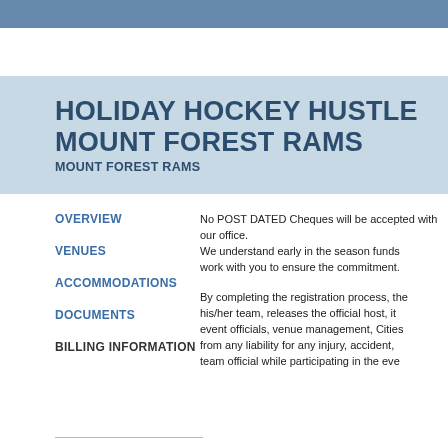HOLIDAY HOCKEY HUSTLE
MOUNT FOREST RAMS
MOUNT FOREST RAMS
OVERVIEW
VENUES
ACCOMMODATIONS
DOCUMENTS
BILLING INFORMATION
No POST DATED Cheques will be accepted with our office.
We understand early in the season funds work with you to ensure the commitment.
By completing the registration process, his/her team, releases the official host, it event officials, venue management, Cities from any liability for any injury, accident, team official while participating in the eve